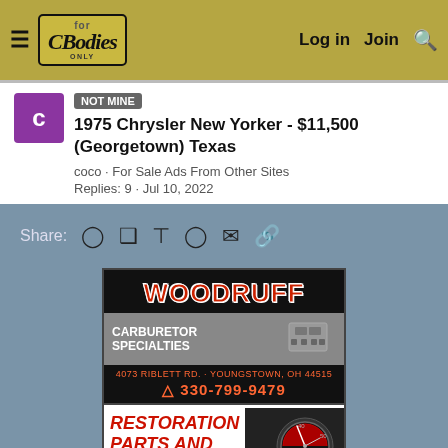For C Bodies Only - Log in | Join | Search
NOT MINE 1975 Chrysler New Yorker - $11,500 (Georgetown) Texas
coco · For Sale Ads From Other Sites
Replies: 9 · Jul 10, 2022
Share: Reddit Pinterest Tumblr WhatsApp Email Link
[Figure (advertisement): Woodruff Carburetor Specialties ad - 4073 Riblett Rd., Youngstown, OH 44515, phone 330-799-9479]
[Figure (advertisement): Restoration Parts and Materials ad with speedometer image]